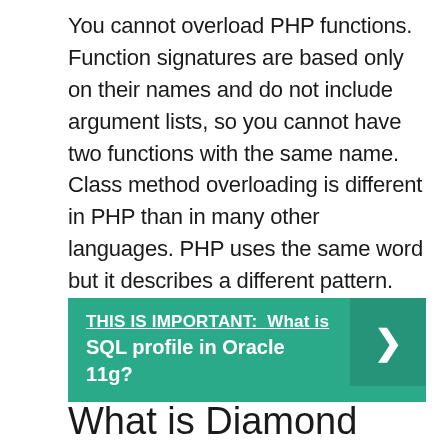You cannot overload PHP functions. Function signatures are based only on their names and do not include argument lists, so you cannot have two functions with the same name. Class method overloading is different in PHP than in many other languages. PHP uses the same word but it describes a different pattern.
[Figure (infographic): Teal banner with bold text reading 'THIS IS IMPORTANT: What is SQL profile in Oracle 11g?' and a right-arrow chevron on the right side.]
What is Diamond problem PHP?
Multiple inheritance actually suffers from the Diamond Problem. The "diamond...